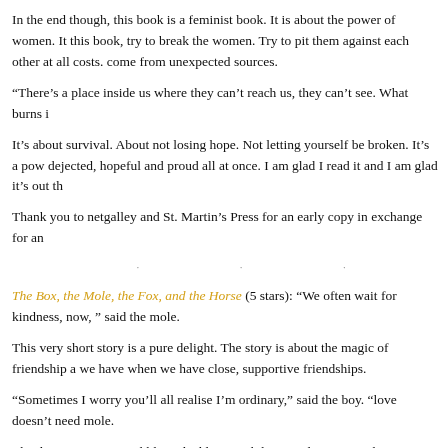In the end though, this book is a feminist book. It is about the power of women. It this book, try to break the women. Try to pit them against each other at all costs. come from unexpected sources.
“There’s a place inside us where they can’t reach us, they can’t see. What burns i
It’s about survival. About not losing hope. Not letting yourself be broken. It’s a pow dejected, hopeful and proud all at once. I am glad I read it and I am glad it’s out th
Thank you to netgalley and St. Martin’s Press for an early copy in exchange for an
. . .
The Box, the Mole, the Fox, and the Horse (5 stars): “We often wait for kindness, now, ” said the mole.
This very short story is a pure delight. The story is about the magic of friendship a we have when we have close, supportive friendships.
“Sometimes I worry you’ll all realise I’m ordinary,” said the boy. “love doesn’t need mole.
The drawings are incredible and add so much layer and texture to these beautiful
“The greatest illusion,” said the mole, “is that life should be perfect.”
And it’s all such a good reminder of the beauty of life, the joy of belonging, and the